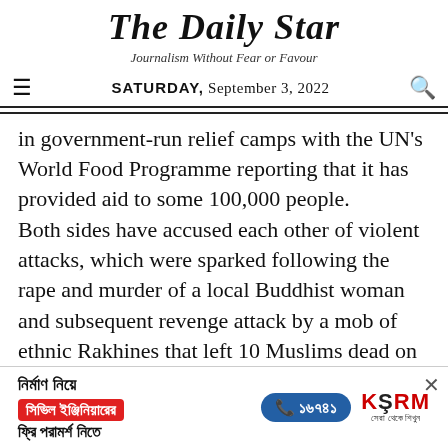The Daily Star
Journalism Without Fear or Favour
SATURDAY, September 3, 2022
in government-run relief camps with the UN's World Food Programme reporting that it has provided aid to some 100,000 people. Both sides have accused each other of violent attacks, which were sparked following the rape and murder of a local Buddhist woman and subsequent revenge attack by a mob of ethnic Rakhines that left 10 Muslims dead on June 3. A state of emergency is still in force in several
[Figure (infographic): Advertisement banner for KSRM civil engineering consultation service in Bengali. Contains Bengali text 'নির্মাণ নিয়ে' (about construction), red box with 'সিভিল ইঞ্জিনিয়ারের' (civil engineer's), phone number '১৬৭৪১' in blue pill, 'ফ্রি পরামর্শ নিতে' (free consultation), and KSRM logo.]